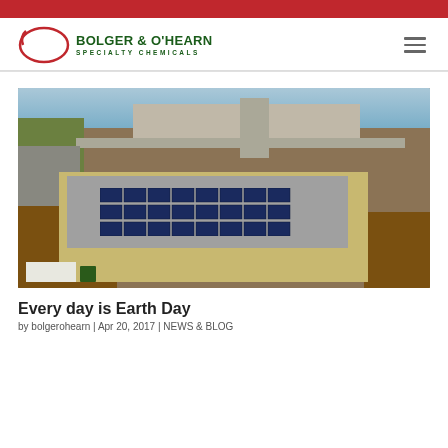[Figure (logo): Bolger & O'Hearn Specialty Chemicals logo with red oval and green text]
[Figure (photo): Aerial drone photo of Bolger & O'Hearn facility showing rooftop solar panels, parking lot, industrial equipment, and surrounding landscape near water]
Every day is Earth Day
by bolgerohearn | Apr 20, 2017 | NEWS & BLOG